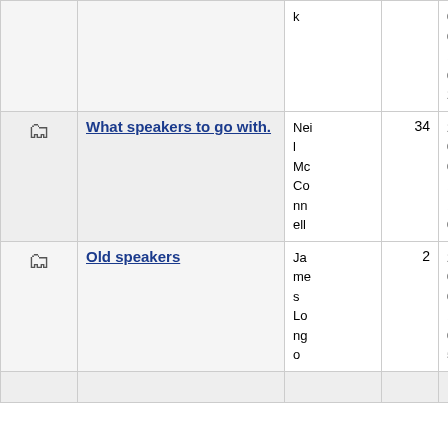|  | Title | Author | Replies | Date |
| --- | --- | --- | --- | --- |
| [icon] |  | k |  | 05-02-15 03:28 |
| [icon] | What speakers to go with. | Neil McConnell | 34 | 2005-02-14 11:00 |
| [icon] | Old speakers | James Longo | 2 | 2005-02-14 04:59 |
| [icon] |  |  |  |  |